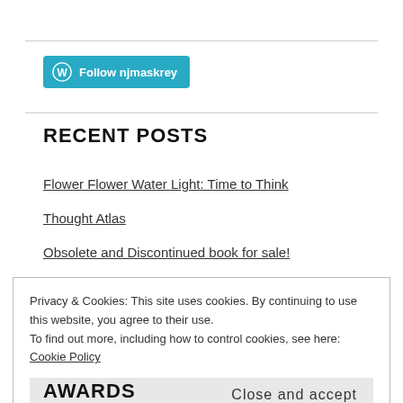[Figure (logo): WordPress Follow button with 'Follow njmaskrey' text on teal background]
RECENT POSTS
Flower Flower Water Light: Time to Think
Thought Atlas
Obsolete and Discontinued book for sale!
Privacy & Cookies: This site uses cookies. By continuing to use this website, you agree to their use.
To find out more, including how to control cookies, see here: Cookie Policy
Close and accept
AWARDS